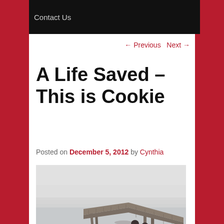Contact Us
← Previous   Next →
A Life Saved – This is Cookie
Posted on December 5, 2012 by Cynthia
[Figure (photo): A wooden dock extending over a foggy, misty lake or bay. The dock is partially submerged or at water level, with wooden planks and support legs visible. Two dark round objects (possibly floats or buoys) are near the end of the dock. The scene is grey and atmospheric with heavy fog obscuring the background.]